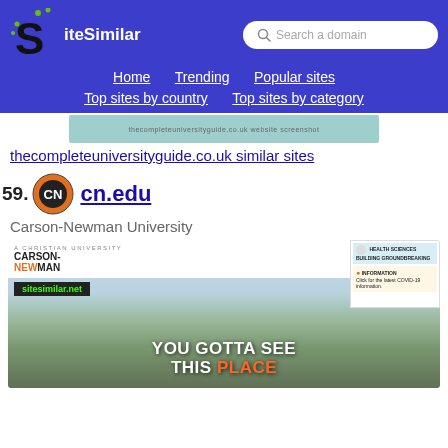[Figure (logo): SiteSimilar logo with stylized S and green dots]
SiteSimilar — Search a domain — navigation: Home, Trending, Popular sites, Top sites by country, Top sites by category
[Figure (screenshot): Partial screenshot of thecompleteuniversityguide.co.uk]
thecompleteuniversityguide.co.uk similar sites
59. cn.edu
Carson-Newman University
[Figure (screenshot): Screenshot of cn.edu showing Carson-Newman University website with YOU GOTTA SEE THIS PLACE banner]